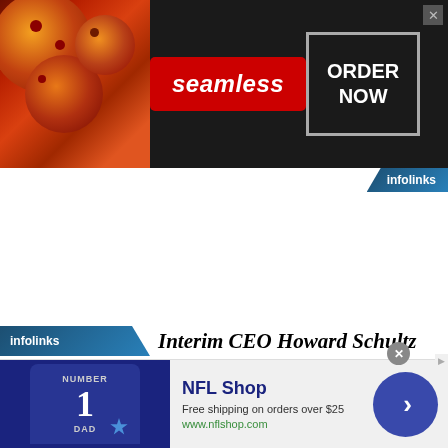[Figure (screenshot): Seamless food delivery banner advertisement with pizza images on left, red Seamless logo in center, and ORDER NOW button on right with infolinks badge]
[Figure (screenshot): infolinks badge bottom-left bar with text 'Interim CEO Howard Schultz' heading text on right]
[Figure (screenshot): NFL Shop bottom banner ad showing navy jersey with number 1, text 'NFL Shop Free shipping on orders over $25 www.nflshop.com' and blue circular arrow button, with close X and Ad label]